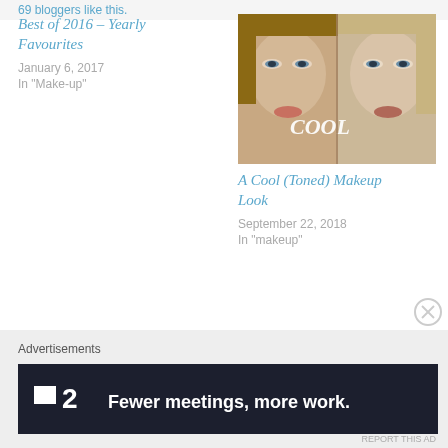69 bloggers like this.
Best of 2016 – Yearly Favourites
January 6, 2017
In "Make-up"
[Figure (photo): Two women's faces side by side with text 'COOL' overlay]
A Cool (Toned) Makeup Look
September 22, 2018
In "makeup"
Fire Vixen Eye Makeup Look
November 1, 2017
In "makeup"
Advertisements
[Figure (screenshot): Dark ad banner: Plan logo with '2' and text 'Fewer meetings, more work.']